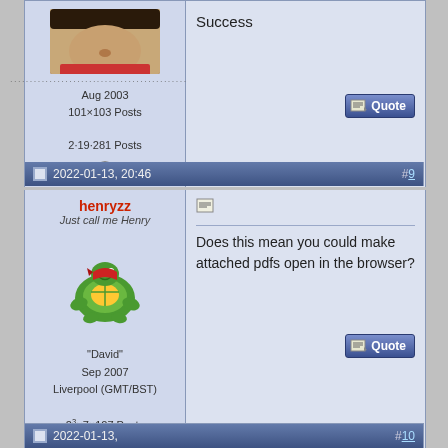Success
Aug 2003
101×103 Posts
2·19·281 Posts
2022-01-13, 20:46
#9
henryzz
Just call me Henry
[Figure (illustration): Cartoon green turtle wearing a red bandana, avatar for user henryzz]
"David"
Sep 2007
Liverpool (GMT/BST)
2^3×7×107 Posts
Does this mean you could make attached pdfs open in the browser?
2022-01-13,
#10